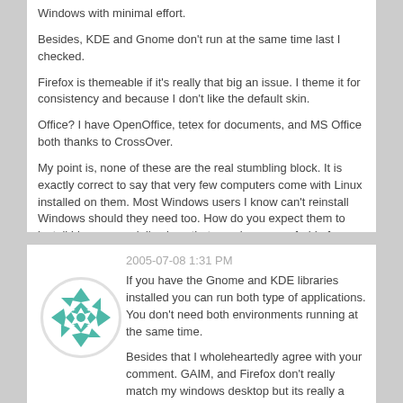Windows with minimal effort.
Besides, KDE and Gnome don't run at the same time last I checked.
Firefox is themeable if it's really that big an issue. I theme it for consistency and because I don't like the default skin.
Office? I have OpenOffice, tetex for documents, and MS Office both thanks to CrossOver.
My point is, none of these are the real stumbling block. It is exactly correct to say that very few computers come with Linux installed on them. Most Windows users I know can't reinstall Windows should they need too. How do you expect them to install Linux, especially given that people are so afraid of "breaking" the computer.
The only thing I really lack are applications like ESRI ArcInfo, big ticket items of that sort that lack Linux support. Then my life could be Windows free.
2005-07-08 1:31 PM
[Figure (illustration): Circular avatar icon with teal geometric flower/cross pattern on white background]
If you have the Gnome and KDE libraries installed you can run both type of applications. You don't need both environments running at the same time.
Besides that I wholeheartedly agree with your comment. GAIM, and Firefox don't really match my windows desktop but its really a non issue.
Does anyone running windows ever run a java